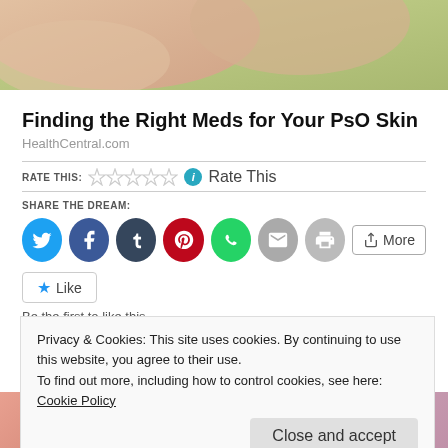[Figure (photo): Close-up photo of hands/skin with pinkish-green background]
Finding the Right Meds for Your PsO Skin
HealthCentral.com
RATE THIS: ☆☆☆☆☆ ℹ Rate This
SHARE THE DREAM:
[Figure (infographic): Social share buttons: Twitter, Facebook, Tumblr, Pinterest, WhatsApp, Email, Print, More]
Like
Be the first to like this.
Privacy & Cookies: This site uses cookies. By continuing to use this website, you agree to their use.
To find out more, including how to control cookies, see here: Cookie Policy
Close and accept
[Figure (photo): Two thumbnail images at the bottom of the page]